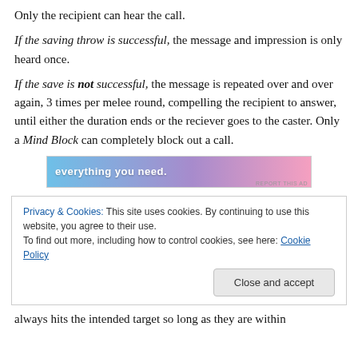Only the recipient can hear the call.
If the saving throw is successful, the message and impression is only heard once.
If the save is not successful, the message is repeated over and over again, 3 times per melee round, compelling the recipient to answer, until either the duration ends or the reciever goes to the caster. Only a Mind Block can completely block out a call.
[Figure (other): Advertisement banner with text 'everything you need.' on a blue-to-pink gradient background]
Privacy & Cookies: This site uses cookies. By continuing to use this website, you agree to their use.
To find out more, including how to control cookies, see here: Cookie Policy
Close and accept
always hits the intended target so long as they are within